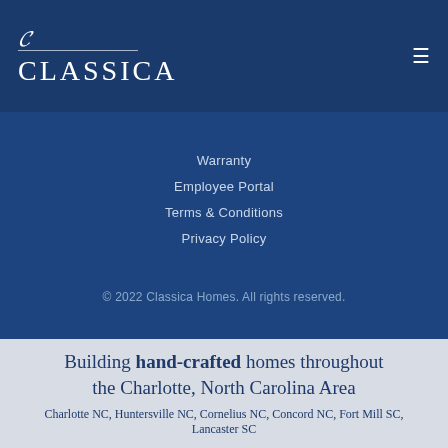[Figure (logo): Classica Homes logo with script C and uppercase CLASSICA text on dark blue background]
Warranty
Employee Portal
Terms & Conditions
Privacy Policy
© 2022 Classica Homes. All rights reserved.
Building hand-crafted homes throughout the Charlotte, North Carolina Area
Charlotte NC, Huntersville NC, Cornelius NC, Concord NC, Fort Mill SC, Lancaster SC